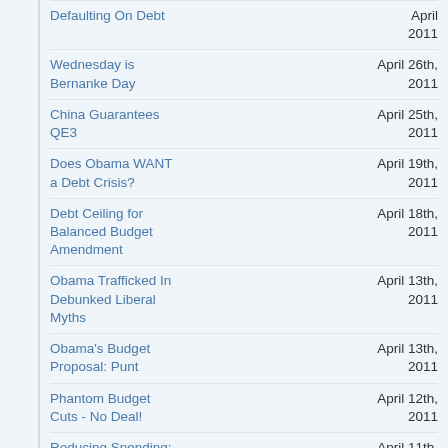Defaulting On Debt | April 2011
Wednesday is Bernanke Day | April 26th, 2011
China Guarantees QE3 | April 25th, 2011
Does Obama WANT a Debt Crisis? | April 19th, 2011
Debt Ceiling for Balanced Budget Amendment | April 18th, 2011
Obama Trafficked In Debunked Liberal Myths | April 13th, 2011
Obama's Budget Proposal: Punt | April 13th, 2011
Phantom Budget Cuts - No Deal! | April 12th, 2011
Reducing Spending: Strategy vs. Brute Force | April 11th, 2011
A (Hopefully Strategic) Budget Loss | April 8th, 2011
Encouraging Budget from Rep. Paul Ryan | April 6th, 2011
Tax Refunds Add to the Economy? | March 31st, 2011